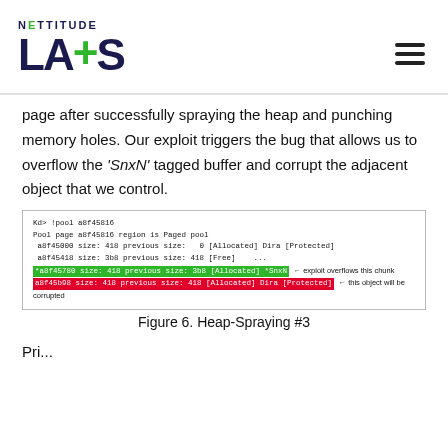[Figure (logo): Nettitude Labs logo with dark navy text and green plus symbol, hamburger menu icon top right]
page after successfully spraying the heap and punching memory holes. Our exploit triggers the bug that allows us to overflow the ‘SnxN’ tagged buffer and corrupt the adjacent object that we control.
[Figure (screenshot): Debugger output showing pool memory layout. Green highlighted line: *a8f45780 size: 418 previous size: 3b8 [Allocated] *SnxN <- exploit overflows this chunk. Red highlighted line: a8f45b98 size: 418 previous size: 418 [Allocated] Dira [Protected] <- this object will be corrupted]
Figure 6. Heap-Spraying #3
Pri...